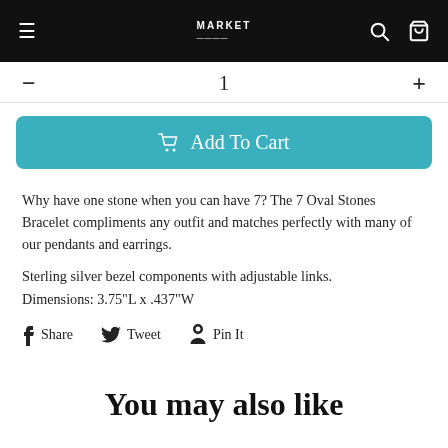MARKET (logo) — navigation header with hamburger menu, search, and cart icons
— 1 +
Add To Cart
Why have one stone when you can have 7? The 7 Oval Stones Bracelet compliments any outfit and matches perfectly with many of our pendants and earrings.
Sterling silver bezel components with adjustable links. Dimensions: 3.75"L x .437"W
Share  Tweet  Pin It
You may also like